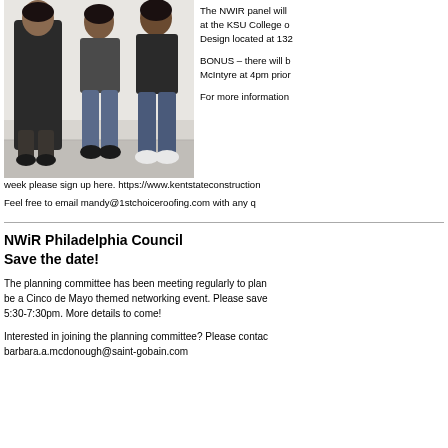[Figure (photo): Three women standing together against a white wall, wearing casual clothing]
The NWIR panel will at the KSU College o Design located at 132

BONUS – there will b McIntyre at 4pm prior

For more information week please sign up here. https://www.kentstateconstruction Feel free to email mandy@1stchoiceroofing.com with any q
NWiR Philadelphia Council
Save the date!
The planning committee has been meeting regularly to plan be a Cinco de Mayo themed networking event. Please save 5:30-7:30pm. More details to come!
Interested in joining the planning committee? Please contac barbara.a.mcdonough@saint-gobain.com